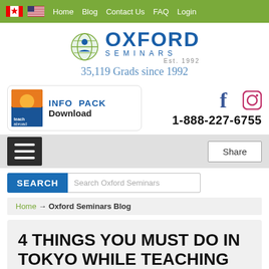Home  Blog  Contact Us  FAQ  Login
[Figure (logo): Oxford Seminars logo with globe icon, Est. 1992]
35,119 Grads since 1992
[Figure (infographic): INFO PACK Download button with book cover image]
1-888-227-6755
[Figure (infographic): Hamburger menu icon and Share button]
SEARCH  Search Oxford Seminars
Home → Oxford Seminars Blog
4 THINGS YOU MUST DO IN TOKYO WHILE TEACHING ESL